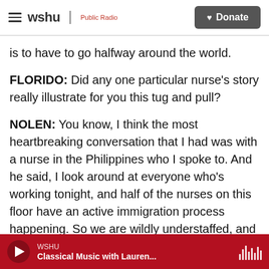wshu | Public Radio — Donate
is to have to go halfway around the world.
FLORIDO: Did any one particular nurse's story really illustrate for you this tug and pull?
NOLEN: You know, I think the most heartbreaking conversation that I had was with a nurse in the Philippines who I spoke to. And he said, I look around at everyone who's working tonight, and half of the nurses on this floor have an active immigration process happening. So we are wildly understaffed, and I am exhausted. And what's going to happen when these seven people's - when
WSHU — Classical Music with Lauren...